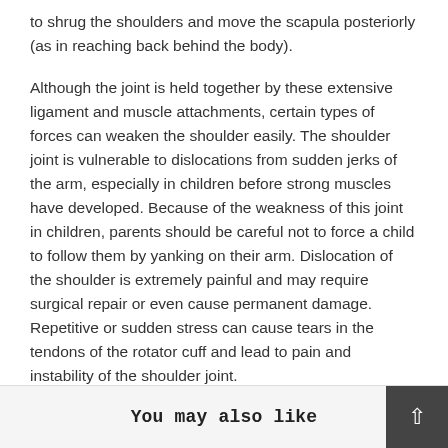to shrug the shoulders and move the scapula posteriorly (as in reaching back behind the body).
Although the joint is held together by these extensive ligament and muscle attachments, certain types of forces can weaken the shoulder easily. The shoulder joint is vulnerable to dislocations from sudden jerks of the arm, especially in children before strong muscles have developed. Because of the weakness of this joint in children, parents should be careful not to force a child to follow them by yanking on their arm. Dislocation of the shoulder is extremely painful and may require surgical repair or even cause permanent damage. Repetitive or sudden stress can cause tears in the tendons of the rotator cuff and lead to pain and instability of the shoulder joint.
You may also like